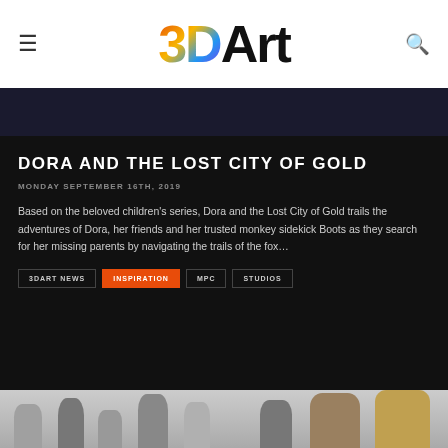3DArt
DORA AND THE LOST CITY OF GOLD
MONDAY SEPTEMBER 16TH, 2019
Based on the beloved children's series, Dora and the Lost City of Gold trails the adventures of Dora, her friends and her trusted monkey sidekick Boots as they search for her missing parents by navigating the trails of the fox…
3DART NEWS
INSPIRATION
MPC
STUDIOS
[Figure (photo): Bottom portion of a group photo showing character figures/models from Dora and the Lost City of Gold]